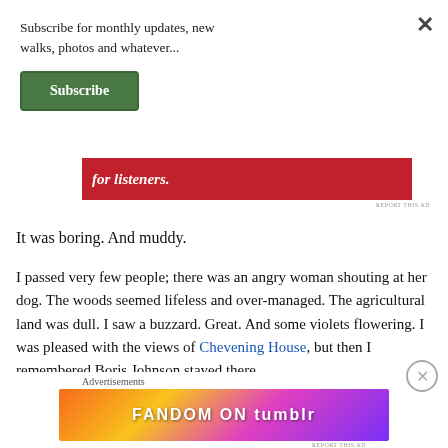Subscribe for monthly updates, new walks, photos and whatever...
Subscribe
[Figure (screenshot): Red advertisement banner with text 'for listeners.' and a device image]
REPORT THIS AD
It was boring. And muddy.
I passed very few people; there was an angry woman shouting at her dog. The woods seemed lifeless and over-managed. The agricultural land was dull. I saw a buzzard. Great. And some violets flowering. I was pleased with the views of Chevening House, but then I remembered Boris Johnson stayed there
Advertisements
[Figure (screenshot): Tumblr Fandom On advertisement banner with colorful gradient background]
REPORT THIS AD